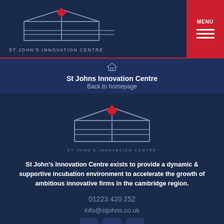[Figure (logo): St John's Innovation Centre logo — building outline with red diamond roof, white lines, header version]
[Figure (logo): Menu button — red background, white MENU text, three white horizontal lines]
St Johns Innovation Centre
Back to homepage
[Figure (logo): St John's Innovation Centre logo — building outline with red diamond roof, center of main content area]
St John's Innovation Centre exists to provide a dynamic & supportive incubation environment to accelerate the growth of ambitious innovative firms in the cambridge region.
01223 420 252
info@stjohns.co.uk
[Figure (infographic): Social media icons: Facebook, Twitter, LinkedIn]
St John's Innovation Centre